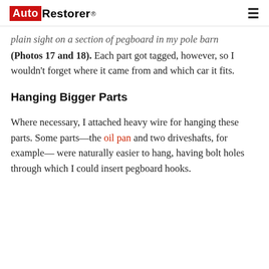AutoRestorer
plain sight on a section of pegboard in my pole barn (Photos 17 and 18). Each part got tagged, however, so I wouldn't forget where it came from and which car it fits.
Hanging Bigger Parts
Where necessary, I attached heavy wire for hanging these parts. Some parts—the oil pan and two driveshafts, for example— were naturally easier to hang, having bolt holes through which I could insert pegboard hooks.